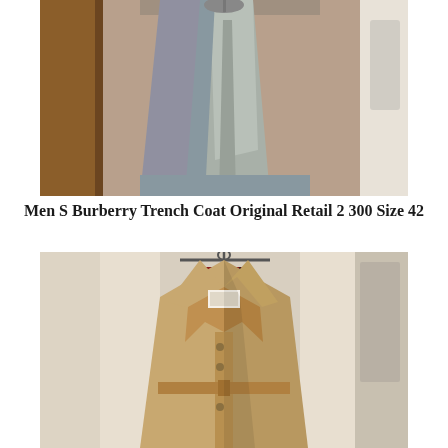[Figure (photo): Photo of a light grey/silver Burberry trench coat hanging on a wooden wardrobe door/frame against a white wall]
Men S Burberry Trench Coat Original Retail 2 300 Size 42
[Figure (photo): Photo of a camel/tan Burberry trench coat on a hanger showing the collar with signature Burberry plaid lining, double-breasted front buttons, and belted waist]